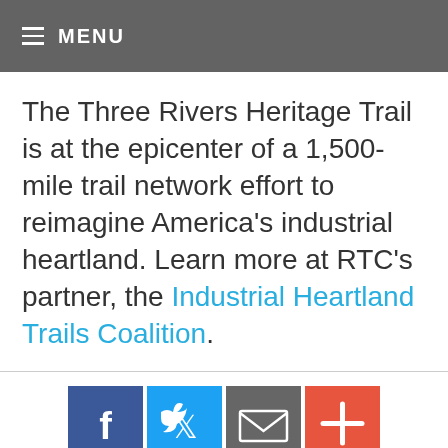≡ MENU
The Three Rivers Heritage Trail is at the epicenter of a 1,500-mile trail network effort to reimagine America's industrial heartland. Learn more at RTC's partner, the Industrial Heartland Trails Coalition.
[Figure (other): Social media sharing buttons: Facebook (blue), Twitter (light blue), Email (gray), More/Plus (orange-red)]